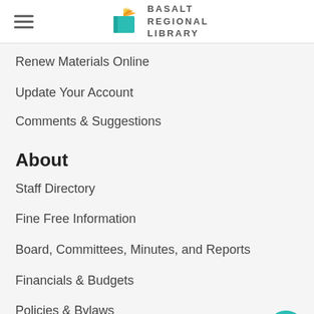Basalt Regional Library
Renew Materials Online
Update Your Account
Comments & Suggestions
About
Staff Directory
Fine Free Information
Board, Committees, Minutes, and Reports
Financials & Budgets
Policies & Bylaws
BRL District Map